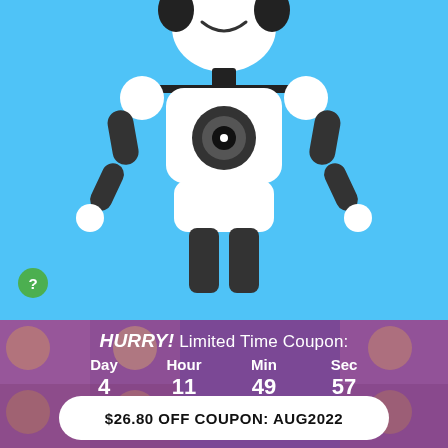[Figure (illustration): A cartoon robot character with white body, dark arms and legs, a circular camera lens on its chest, standing with hands on hips against a light blue background]
HURRY! Limited Time Coupon:
Day 4   Hour 11   Min 49   Sec 57
$26.80 OFF COUPON: AUG2022